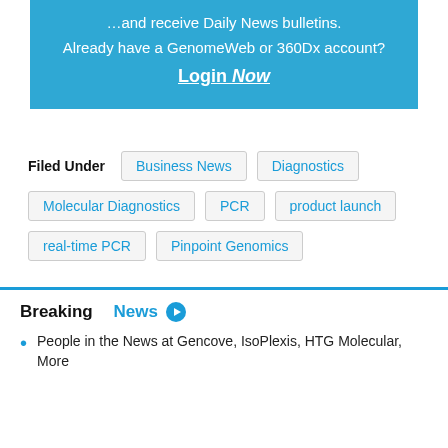…and receive Daily News bulletins.
Already have a GenomeWeb or 360Dx account?
Login Now
Filed Under   Business News   Diagnostics   Molecular Diagnostics   PCR   product launch   real-time PCR   Pinpoint Genomics
Breaking News
People in the News at Gencove, IsoPlexis, HTG Molecular, More